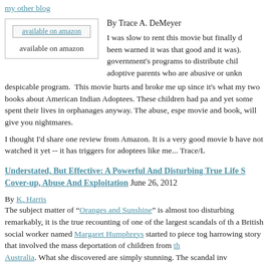my other blog
[Figure (other): Book cover image link labeled 'available on amazon' inside a bordered box, with caption 'available on amazon' below]
By Trace A. DeMeyer
I was slow to rent this movie but finally did (I had been warned it was that good and it was). It's about government's programs to distribute children to adoptive parents who are abusive or unknowing of this despicable program. This movie hurts and broke me up since it's what my two books about American Indian Adoptees. These children had parents and yet some spent their lives in orphanages anyway. The abuse, especially in this movie and book, will give you nightmares.
I thought I'd share one review from Amazon. It is a very good movie but if you have not watched it yet -- it has triggers for adoptees like me... Trace/L
Understated, But Effective: A Powerful And Disturbing True Life Story of Cover-up, Abuse And Exploitation June 26, 2012
By K. Harris
The subject matter of "Oranges and Sunshine" is almost too disturbing; remarkably, it is the true recounting of one of the largest scandals of the age. When a British social worker named Margaret Humphreys started to piece together a harrowing story that involved the mass deportation of children from the Australia. What she discovered are simply stunning. The scandal inv